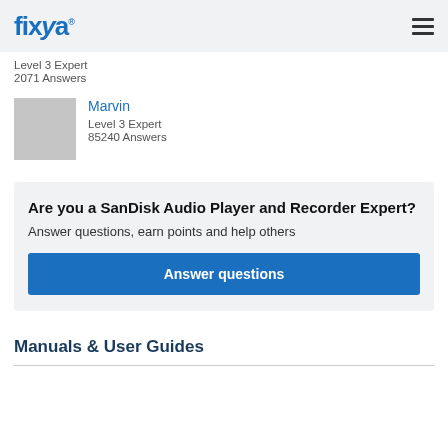fixya
Level 3 Expert
2071 Answers
Marvin
Level 3 Expert
85240 Answers
Are you a SanDisk Audio Player and Recorder Expert?
Answer questions, earn points and help others
Answer questions
Manuals & User Guides